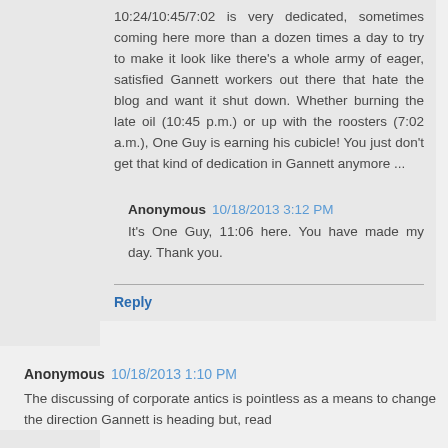10:24/10:45/7:02 is very dedicated, sometimes coming here more than a dozen times a day to try to make it look like there's a whole army of eager, satisfied Gannett workers out there that hate the blog and want it shut down. Whether burning the late oil (10:45 p.m.) or up with the roosters (7:02 a.m.), One Guy is earning his cubicle! You just don't get that kind of dedication in Gannett anymore ...
Anonymous 10/18/2013 3:12 PM
It's One Guy, 11:06 here. You have made my day. Thank you.
Reply
Anonymous 10/18/2013 1:10 PM
The discussing of corporate antics is pointless as a means to change the direction Gannett is heading but, read